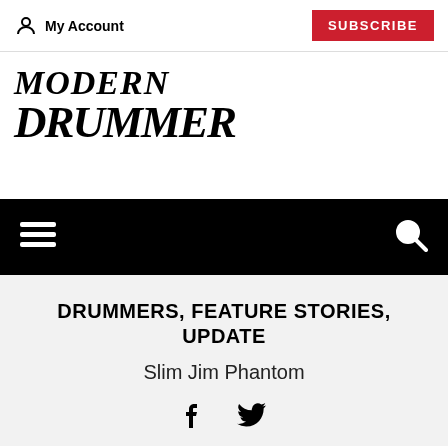My Account | SUBSCRIBE
[Figure (logo): Modern Drummer logo in bold italic serif font]
[Figure (screenshot): Black navigation bar with hamburger menu icon on left and search icon on right]
DRUMMERS, FEATURE STORIES, UPDATE
Slim Jim Phantom
[Figure (infographic): Facebook and Twitter social media icons]